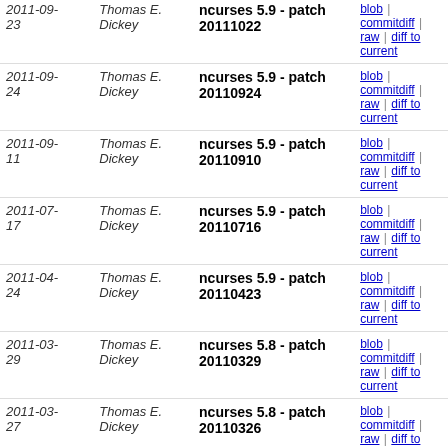| Date | Author | Description | Links |
| --- | --- | --- | --- |
| 2011-09-23 | Thomas E. Dickey | ncurses 5.9 - patch 20111022 | blob | commitdiff | raw | diff to current |
| 2011-09-24 | Thomas E. Dickey | ncurses 5.9 - patch 20110924 | blob | commitdiff | raw | diff to current |
| 2011-09-11 | Thomas E. Dickey | ncurses 5.9 - patch 20110910 | blob | commitdiff | raw | diff to current |
| 2011-07-17 | Thomas E. Dickey | ncurses 5.9 - patch 20110716 | blob | commitdiff | raw | diff to current |
| 2011-04-24 | Thomas E. Dickey | ncurses 5.9 - patch 20110423 | blob | commitdiff | raw | diff to current |
| 2011-03-29 | Thomas E. Dickey | ncurses 5.8 - patch 20110329 | blob | commitdiff | raw | diff to current |
| 2011-03-27 | Thomas E. Dickey | ncurses 5.8 - patch 20110326 | blob | commitdiff | raw | diff to current |
| 2011-03-20 | Thomas E. Dickey | ncurses 5.8 - patch 20110319 | blob | commitdiff | raw | diff to current |
| 2010-11-28 | Thomas E. Dickey | ncurses 5.7 - patch 20101127 | blob | commitdiff | raw | diff to current |
| 2010-11-06 | Thomas E. Dickey | ncurses 5.7 - patch 20101106 | blob | commitdiff | raw | diff to current |
| 2010-10-24 | Thomas E. Dickey | ncurses 5.7 - patch 20101023 | blob | commitdiff | raw | diff to current |
| 2010-09-26 | Thomas E. Dickey | ncurses 5.7 - patch 20100925 | blob | commitdiff | raw | diff to current |
| 2010-09-12 | Thomas E. Dickey | ncurses 5.7 - patch 20100911 | blob | commitdiff | raw | diff to current |
| 2010-09- | Thomas E. Dickey | ncurses 5.7 - patch | blob | commitdiff | raw | diff to current |